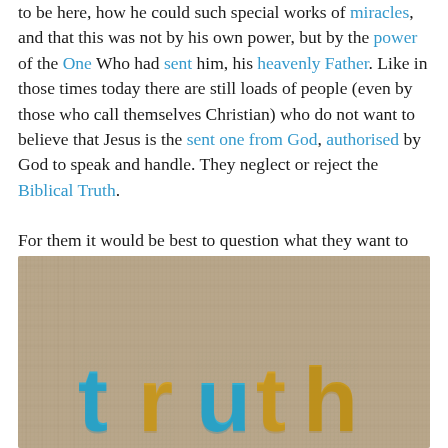to be here, how he could such special works of miracles, and that this was not by his own power, but by the power of the One Who had sent him, his heavenly Father. Like in those times today there are still loads of people (even by those who call themselves Christian) who do not want to believe that Jesus is the sent one from God, authorised by God to speak and handle. They neglect or reject the Biblical Truth.
For them it would be best to question what they want to accept as Truth.
[Figure (photo): Photograph of colorful wooden letter tiles spelling 'truth' on a burlap/linen fabric background. Letters are alternating blue and yellow/orange colors.]